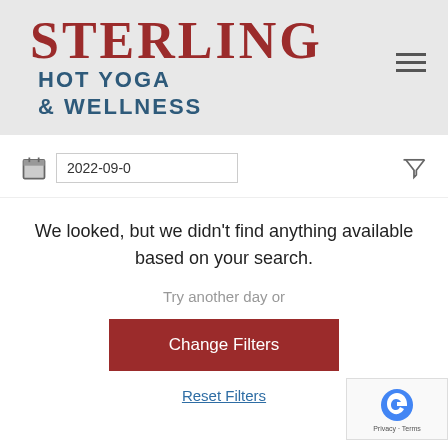STERLING HOT YOGA & WELLNESS
[Figure (screenshot): Date input field showing '2022-09-0' with calendar icon and filter funnel icon]
We looked, but we didn't find anything available based on your search.
Try another day or
Change Filters
Reset Filters
[Figure (logo): reCAPTCHA badge with Privacy and Terms links]